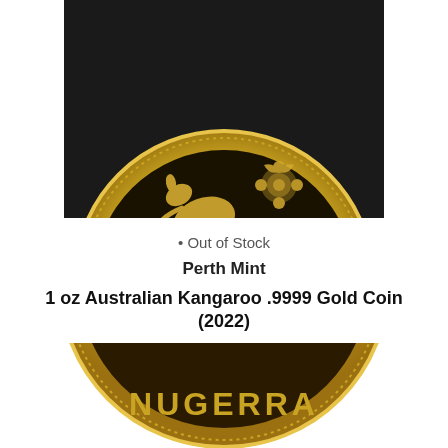[Figure (photo): Top portion of a gold Australian Kangaroo coin showing kangaroo and floral design with text '1oz .9999 Au']
Out of Stock
Perth Mint
1 oz Australian Kangaroo .9999 Gold Coin (2022)
Suncorp Sells at:
CAD $2,377.83
USD $1,832.20
[Figure (photo): Bottom portion of a gold coin showing text 'NUGERRA' (partial, likely NUGGET or CANBERRA)]